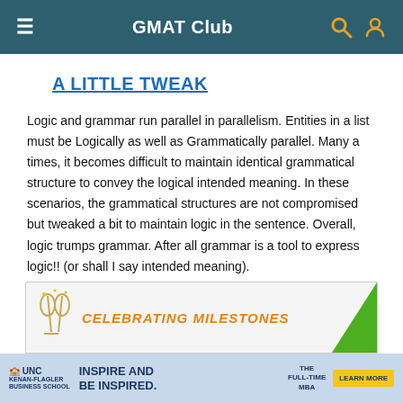GMAT Club
A LITTLE TWEAK
Logic and grammar run parallel in parallelism. Entities in a list must be Logically as well as Grammatically parallel. Many a times, it becomes difficult to maintain identical grammatical structure to convey the logical intended meaning. In these scenarios, the grammatical structures are not compromised but tweaked a bit to maintain logic in the sentence. Overall, logic trumps grammar. After all grammar is a tool to express logic!! (or shall I say intended meaning).
[Figure (infographic): Celebrating Milestones banner with champagne glasses icon and orange text, green arrow graphic on right side]
[Figure (infographic): UNC Kenan-Flagler Business School advertisement: INSPIRE AND BE INSPIRED. THE FULL-TIME MBA. LEARN MORE button.]